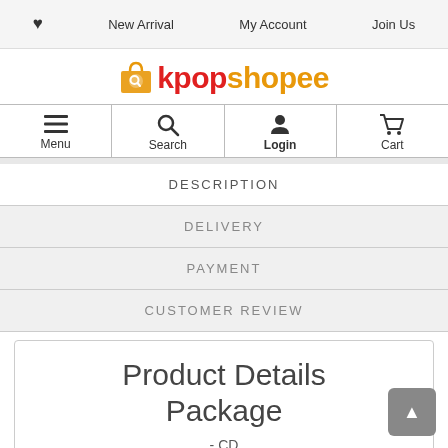♥  New Arrival  My Account  Join Us
[Figure (logo): kpopshopee logo with shopping bag icon, 'kpop' in red bold and 'shopee' in orange bold]
Menu  Search  Login  Cart
DESCRIPTION
DELIVERY
PAYMENT
CUSTOMER REVIEW
Product Details Package
- CD